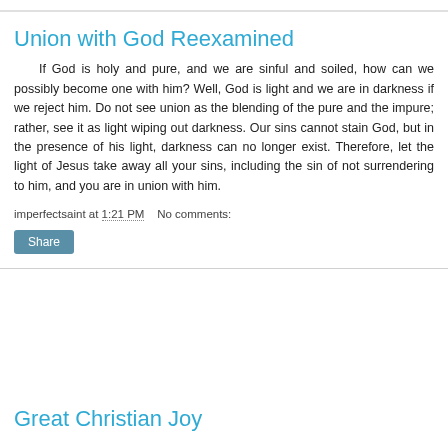Union with God Reexamined
If God is holy and pure, and we are sinful and soiled, how can we possibly become one with him? Well, God is light and we are in darkness if we reject him. Do not see union as the blending of the pure and the impure; rather, see it as light wiping out darkness. Our sins cannot stain God, but in the presence of his light, darkness can no longer exist. Therefore, let the light of Jesus take away all your sins, including the sin of not surrendering to him, and you are in union with him.
imperfectsaint at 1:21 PM   No comments:
Share
Great Christian Joy